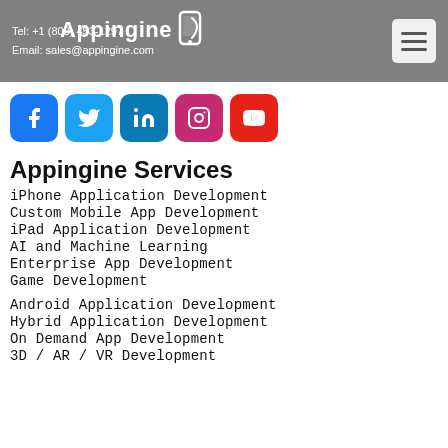Tel: +1 (800) 453-1297
Email: sales@appingine.com
[Figure (logo): Appingine logo with phone icon]
[Figure (other): Hamburger menu button]
[Figure (other): Social media icons row: Facebook, Twitter, LinkedIn, Instagram, YouTube]
Appingine Services
iPhone Application Development
Custom Mobile App Development
iPad Application Development
AI and Machine Learning
Enterprise App Development
Game Development
Android Application Development
Hybrid Application Development
On Demand App Development
3D / AR / VR Development